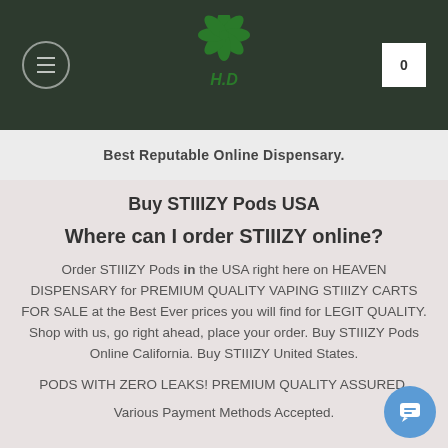[Figure (logo): Website header with dark green background, cannabis leaf logo with 'H.D' text, hamburger menu icon on left, shopping cart with '0' on right]
Best Reputable Online Dispensary.
Buy STIIIZY Pods USA
Where can I order STIIIZY online?
Order STIIIZY Pods in the USA right here on HEAVEN DISPENSARY for PREMIUM QUALITY VAPING STIIIZY CARTS FOR SALE at the Best Ever prices you will find for LEGIT QUALITY. Shop with us, go right ahead, place your order. Buy STIIIZY Pods Online California. Buy STIIIZY United States.
PODS WITH ZERO LEAKS! PREMIUM QUALITY ASSURED.
Various Payment Methods Accepted.